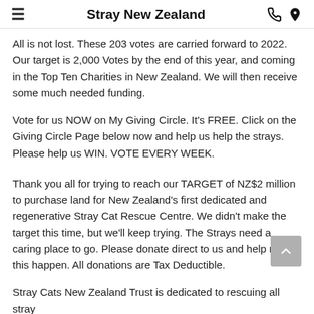Stray New Zealand
All is not lost. These 203 votes are carried forward to 2022. Our target is 2,000 Votes by the end of this year, and coming in the Top Ten Charities in New Zealand. We will then receive some much needed funding.
Vote for us NOW on My Giving Circle. It's FREE. Click on the Giving Circle Page below now and help us help the strays. Please help us WIN. VOTE EVERY WEEK.
Thank you all for trying to reach our TARGET of NZ$2 million to purchase land for New Zealand's first dedicated and regenerative Stray Cat Rescue Centre. We didn't make the target this time, but we'll keep trying. The Strays need a caring place to go. Please donate direct to us and help make this happen. All donations are Tax Deductible.
Stray Cats New Zealand Trust is dedicated to rescuing all stray